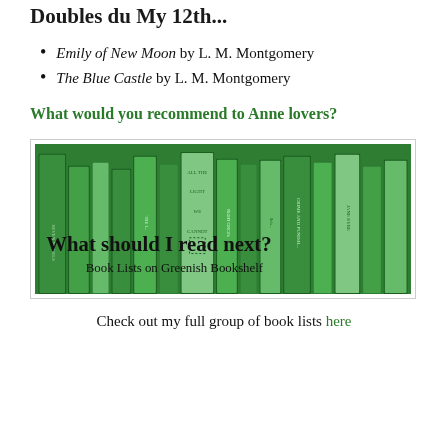Doubles du My 12th...
Emily of New Moon by L. M. Montgomery
The Blue Castle by L. M. Montgomery
What would you recommend to Anne lovers?
[Figure (photo): Green-tinted photo of a bookshelf with various book spines visible. Overlaid text reads: 'What should I read next? Book Lists on Greenish Bookshelf']
Check out my full group of book lists here